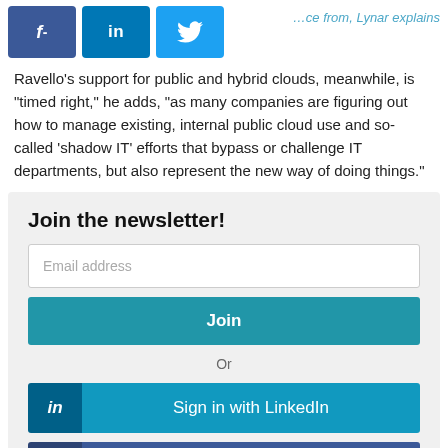[Figure (other): Social share buttons: Facebook (f-), LinkedIn (in), Twitter (bird icon), with a faded article title link visible]
Ravello's support for public and hybrid clouds, meanwhile, is "timed right," he adds, "as many companies are figuring out how to manage existing, internal public cloud use and so-called 'shadow IT' efforts that bypass or challenge IT departments, but also represent the new way of doing things."
Join the newsletter!
Email address
Join
Or
Sign in with LinkedIn
[Figure (other): Partial Facebook sign-in button visible at bottom]